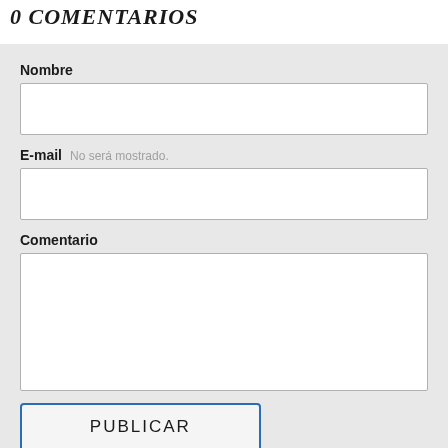0 COMENTARIOS
Nombre
E-mail  No será mostrado.
Comentario
PUBLICAR